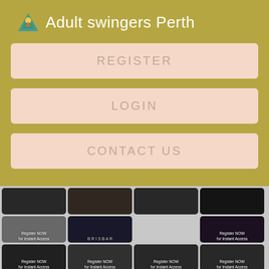Adult swingers Perth
REGISTER
LOGIN
CONTACT US
[Figure (screenshot): Grid of thumbnail images with 'Register NOW for Instant Access' overlays on a light gray background]